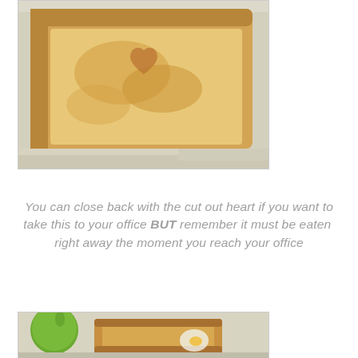[Figure (photo): A slice of toasted bread in a clear plastic container, viewed from above.]
You can close back with the cut out heart if you want to take this to your office BUT remember it must be eaten right away the moment you reach your office
[Figure (photo): A green apple and toasted sandwich in a clear plastic container with an egg visible.]